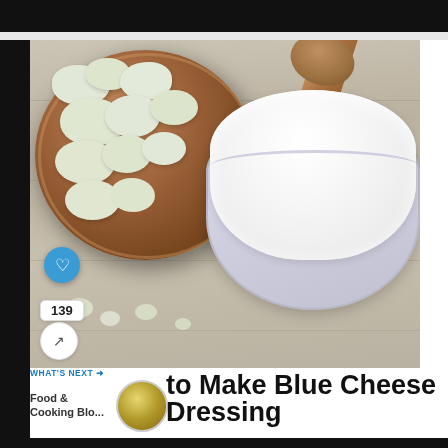[Figure (photo): Photo of blue cheese crumbles in a wooden bowl with a wooden spoon, next to a ruffled glass bowl filled with white blue cheese dressing/sour cream. Gray wooden surface background. Social media UI elements visible: blue heart button, count of 139, and share icon overlaid on lower left of image.]
WHAT'S NEXT → Food & Cooking Blo...
How to Make Blue Cheese Dressing